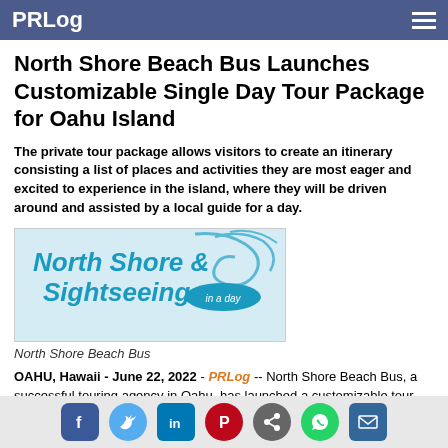PRLog
North Shore Beach Bus Launches Customizable Single Day Tour Package for Oahu Island
The private tour package allows visitors to create an itinerary consisting a list of places and activities they are most eager and excited to experience in the island, where they will be driven around and assisted by a local guide for a day.
[Figure (logo): North Shore & Sightseeing in a Day logo with ocean wave design in teal/blue colors]
North Shore Beach Bus
OAHU, Hawaii - June 22, 2022 - PRLog -- North Shore Beach Bus, a successful touring agency in Oahu, has launched a customizable tour package of the island for visitors. With provisions for creating itineraries consisting of exclusive tourist sites and corresponding activities, it is perfect for visitors who
Social share icons: Facebook, Twitter, LinkedIn, Pinterest, Share, WhatsApp, Email